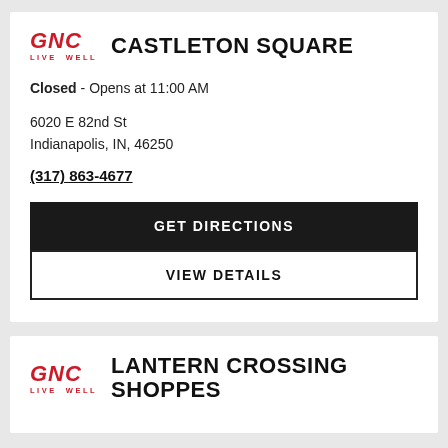GNC LIVE WELL – CASTLETON SQUARE
Closed - Opens at 11:00 AM
6020 E 82nd St
Indianapolis, IN, 46250
(317) 863-4677
GET DIRECTIONS
VIEW DETAILS
GNC LIVE WELL – LANTERN CROSSING SHOPPES